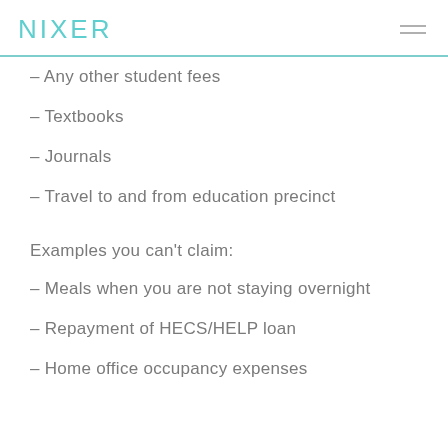NIXER
– Any other student fees
– Textbooks
– Journals
– Travel to and from education precinct
Examples you can't claim:
– Meals when you are not staying overnight
– Repayment of HECS/HELP loan
– Home office occupancy expenses